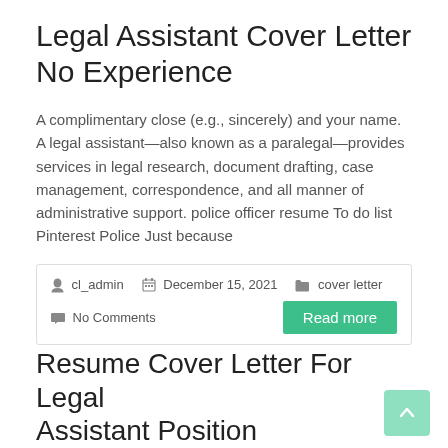Legal Assistant Cover Letter No Experience
A complimentary close (e.g., sincerely) and your name. A legal assistant—also known as a paralegal—provides services in legal research, document drafting, case management, correspondence, and all manner of administrative support. police officer resume To do list Pinterest Police Just because
cl_admin   December 15, 2021   cover letter   No Comments   Read more
Resume Cover Letter For Legal Assistant Position